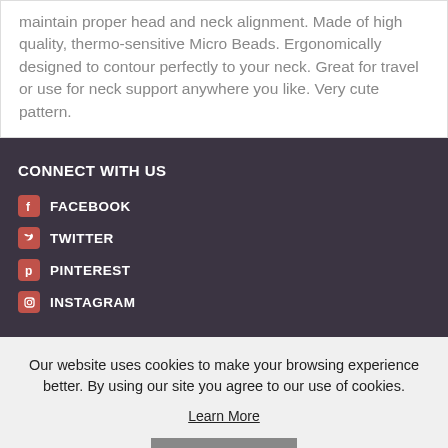maintain proper head and neck alignment. Made of high quality, thermo-sensitive Micro Beads. Ergonomically designed to contour perfectly to your neck. Great for travel or use for neck support anywhere you like. Very cute pattern.
CONNECT WITH US
FACEBOOK
TWITTER
PINTEREST
INSTAGRAM
Our website uses cookies to make your browsing experience better. By using our site you agree to our use of cookies.
Learn More
I Agree